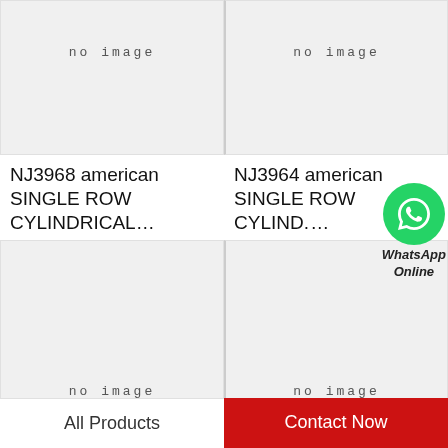[Figure (other): No image placeholder box top left]
[Figure (other): No image placeholder box top right]
NJ3968 american SINGLE ROW CYLINDRICAL…
NJ3964 american SINGLE ROW CYLINDRICAL…
[Figure (other): No image placeholder box bottom left]
[Figure (other): No image placeholder box bottom right with WhatsApp Online overlay]
All Products
Contact Now